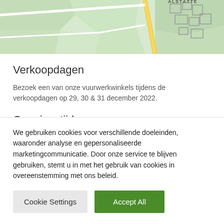[Figure (map): Street map showing area near Alstätte, with green fields, roads including a yellow main road, and building outlines for the town of Alstätte in the upper right.]
Verkoopdagen
Bezoek een van onze vuurwerkwinkels tijdens de verkoopdagen op 29, 30 & 31 december 2022.
Openingstijden
We gebruiken cookies voor verschillende doeleinden, waaronder analyse en gepersonaliseerde marketingcommunicatie. Door onze service te blijven gebruiken, stemt u in met het gebruik van cookies in overeenstemming met ons beleid.